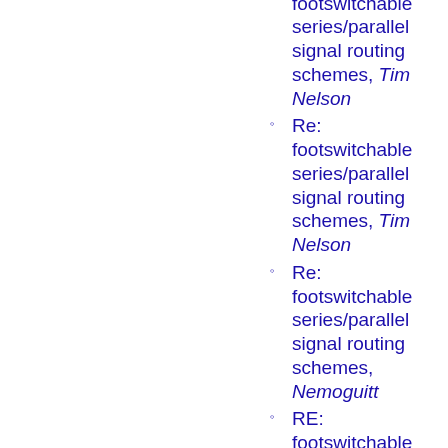Echevarria
Re: footswitchable series/parallel signal routing schemes, Tim Nelson
Re: footswitchable series/parallel signal routing schemes, Tim Nelson
Re: footswitchable series/parallel signal routing schemes, Nemoguitt
RE: footswitchable series/parallel signal routing schemes, Will Brake
Re: it's me again..., Mark Sottilaro
Re: it's me again..., Mark Sottilaro
Re: Playing in time with multiple non-synced loopers... (was: Re: footswitchable